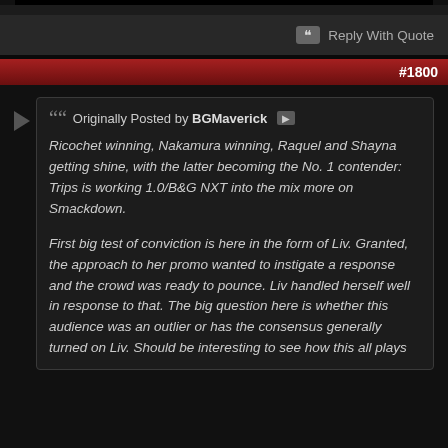[Figure (other): Black embedded video or image area at top of forum post]
Reply With Quote
#1800
Originally Posted by BGMaverick
Ricochet winning, Nakamura winning, Raquel and Shayna getting shine, with the latter becoming the No. 1 contender: Trips is working 1.0/B&G NXT into the mix more on Smackdown.

First big test of conviction is here in the form of Liv. Granted, the approach to her promo wanted to instigate a response and the crowd was ready to pounce. Liv handled herself well in response to that. The big question here is whether this audience was an outlier or has the consensus generally turned on Liv. Should be interesting to see how this all plays